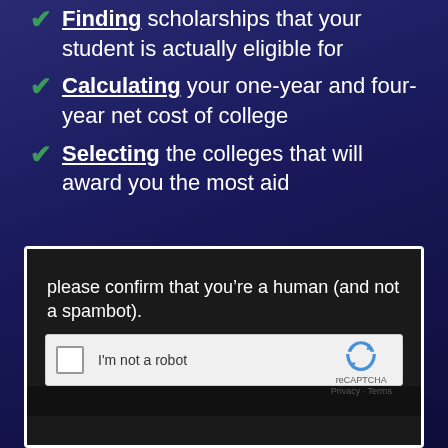Finding scholarships that your student is actually eligible for
Calculating your one-year and four-year net cost of college
Selecting the colleges that will award you the most aid
[Figure (screenshot): Screenshot of a CAPTCHA verification dialog on a dark background, showing text 'please confirm that you're a human (and not a spambot).' with a reCAPTCHA 'I'm not a robot' checkbox widget.]